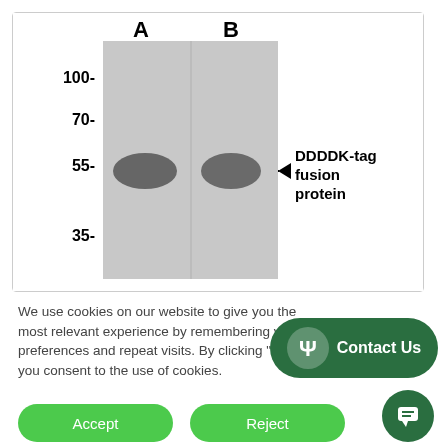[Figure (photo): Western blot image showing two lanes (A and B) with molecular weight markers at 100, 70, 55, and 35 kDa on the left. Both lanes show bands at approximately 55 kDa labeled as DDDDK-tag fusion protein with an arrow pointing to the bands.]
We use cookies on our website to give you the most relevant experience by remembering your preferences and repeat visits. By clicking “Accept”, you consent to the use of cookies.
Accept
Reject
Contact Us
[Figure (other): Dark green rounded button with psi symbol icon and text 'Contact Us']
[Figure (other): Dark green circular chat/message button]